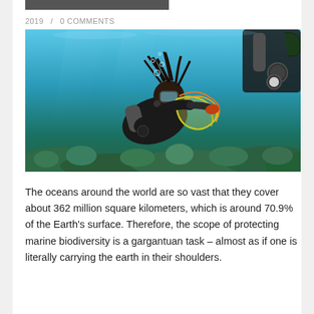2019   /   0 COMMENTS
[Figure (photo): Underwater photograph of a scuba diver with dreadlocks removing a tangled fishing net (ghost gear) from an ocean reef. Another diver is partially visible at the top right. The scene is set in blue-green ocean water above a coral reef.]
The oceans around the world are so vast that they cover about 362 million square kilometers, which is around 70.9% of the Earth’s surface. Therefore, the scope of protecting marine biodiversity is a gargantuan task – almost as if one is literally carrying the earth in their shoulders.